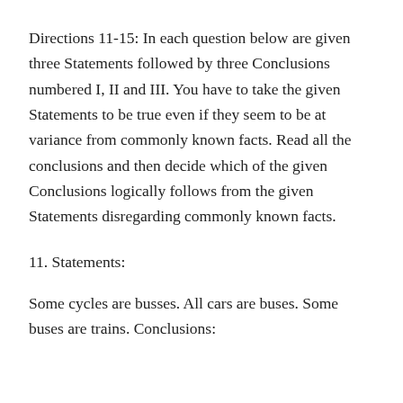Directions 11-15: In each question below are given three Statements followed by three Conclusions numbered I, II and III. You have to take the given Statements to be true even if they seem to be at variance from commonly known facts. Read all the conclusions and then decide which of the given Conclusions logically follows from the given Statements disregarding commonly known facts.
11. Statements:
Some cycles are busses. All cars are buses. Some buses are trains. Conclusions: